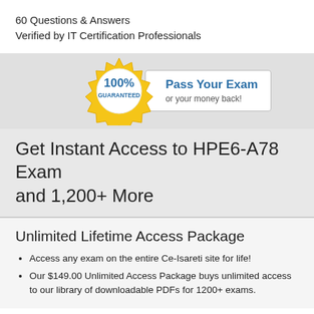60 Questions & Answers
Verified by IT Certification Professionals
[Figure (infographic): Gold seal badge with '100% GUARANTEED' text inside a circle, next to a white box saying 'Pass Your Exam or your money back!']
Get Instant Access to HPE6-A78 Exam and 1,200+ More
Unlimited Lifetime Access Package
Access any exam on the entire Ce-Isareti site for life!
Our $149.00 Unlimited Access Package buys unlimited access to our library of downloadable PDFs for 1200+ exams.